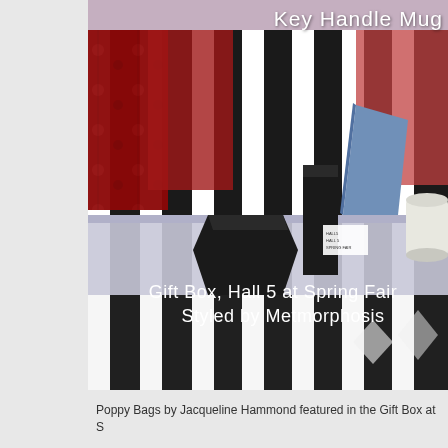[Figure (photo): A retail display photo showing black geometric gift boxes and a blue angled object on a white shelf, against a bold black and white striped backdrop with red botanical/floral prints. A white mug is visible on the right. Overlaid text reads 'Key Handle Mug' at top right and 'Gift Box, Hall 5 at Spring Fair / Styled by Metmorphosis' in the lower center area.]
Poppy Bags by Jacqueline Hammond featured in the Gift Box at S...